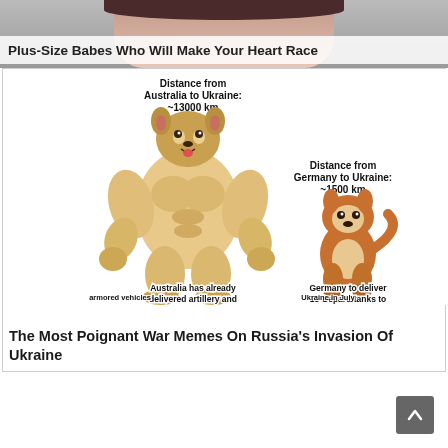[Figure (photo): Top of a person's face, cropped — advertisement image]
Plus-Size Babes Who Will Make Your Heart Race
[Figure (illustration): Meme comparing Australia and Germany's distance to Ukraine and their military aid. Left side: muscular Doge dog labeled 'Distance from Australia to Ukraine: ~13000 km' and 'Australia has already delivered artillery and armored vehicles'. Right side: small sitting Shiba Inu labeled 'Distance from Germany to Ukraine: ~1500 km' and 'Germany to deliver 15 Gepard tanks to Ukraine in July'.]
The Most Poignant War Memes On Russia's Invasion Of Ukraine